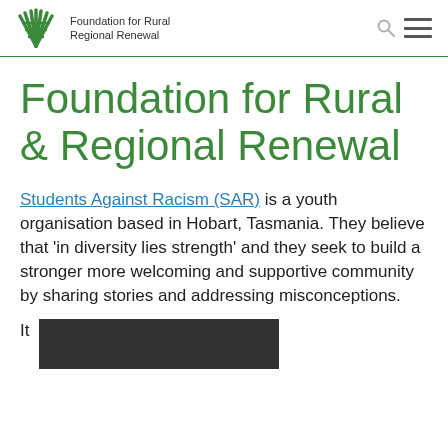Foundation for Rural Regional Renewal
Foundation for Rural & Regional Renewal
Students Against Racism (SAR) is a youth organisation based in Hobart, Tasmania. They believe that 'in diversity lies strength' and they seek to build a stronger more welcoming and supportive community by sharing stories and addressing misconceptions.
It
[Figure (photo): Partial photo visible at bottom right of page]